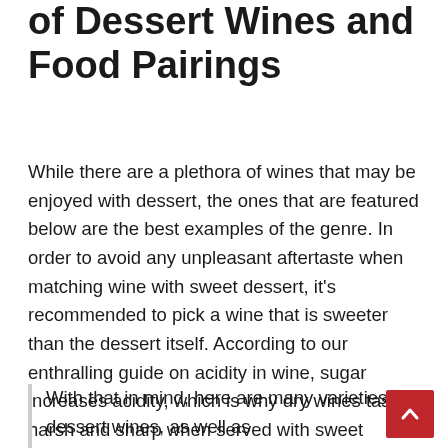of Dessert Wines and Food Pairings
While there are a plethora of wines that may be enjoyed with dessert, the ones that are featured below are the best examples of the genre. In order to avoid any unpleasant aftertaste when matching wine with sweet dessert, it's recommended to pick a wine that is sweeter than the dessert itself. According to our enthralling guide on acidity in wine, sugar increases acidity, which is why dry wines taste harsh and sharp when served with sweet meals.
With that in mind, here are many varieties of dessert wines, as well as